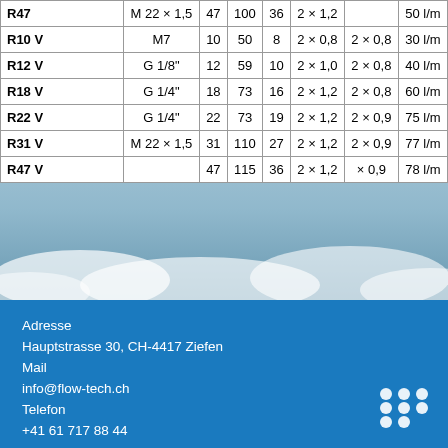| Model | Thread | Col3 | Col4 | Col5 | Col6 | Col7 | Col8 |
| --- | --- | --- | --- | --- | --- | --- | --- |
| R47 | M 22 × 1,5 | 47 | 100 | 36 | 2 × 1,2 |  | 50 l/m |
| R10 V | M7 | 10 | 50 | 8 | 2 × 0,8 | 2 × 0,8 | 30 l/m |
| R12 V | G 1/8" | 12 | 59 | 10 | 2 × 1,0 | 2 × 0,8 | 40 l/m |
| R18 V | G 1/4" | 18 | 73 | 16 | 2 × 1,2 | 2 × 0,8 | 60 l/m |
| R22 V | G 1/4" | 22 | 73 | 19 | 2 × 1,2 | 2 × 0,9 | 75 l/m |
| R31 V | M 22 × 1,5 | 31 | 110 | 27 | 2 × 1,2 | 2 × 0,9 | 77 l/m |
| R47 V |  | 47 | 115 | 36 | 2 × 1,2 | × 0,9 | 78 l/m |
Adresse
Hauptstrasse 30, CH-4417 Ziefen
Mail
info@flow-tech.ch
Telefon
+41 61 717 88 44